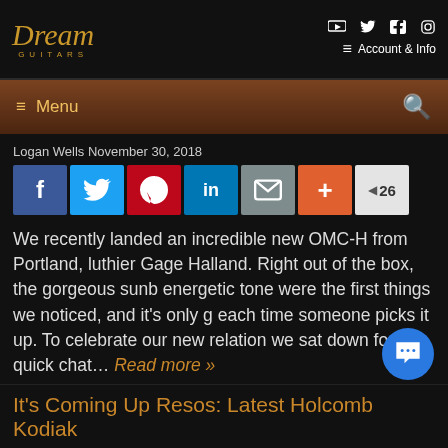[Figure (logo): Dream Guitars logo in gold italic script with 'GUITARS' subtitle]
Account & Info | social icons (YouTube, Twitter, Facebook, Instagram)
≡ Menu | search icon
Logan Wells November 30, 2018
[Figure (infographic): Social share buttons: Facebook, Twitter, Pinterest, LinkedIn, Email, Plus, count 26]
We recently landed an incredible new OMC-H from Portland, luthier Gage Halland. Right out of the box, the gorgeous sunb energetic tone were the first things we noticed, and it's only g each time someone picks it up. To celebrate our new relation we sat down for a quick chat... Read more »
Categories: DG Updates, General Interest Guitar, Handbuilt Guita Luthier profile, Product Announcement
It's Coming Up Resos: Latest Holcomb Kodiak